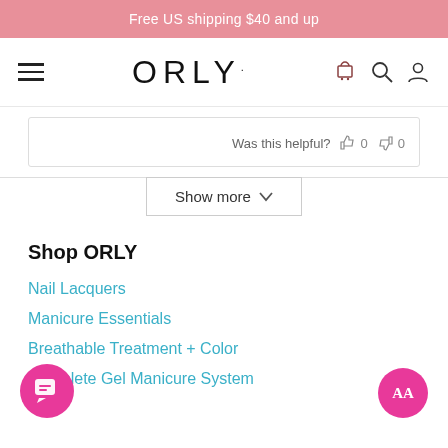Free US shipping $40 and up
[Figure (screenshot): ORLY website navigation bar with hamburger menu, ORLY logo, cart, search, and account icons]
Was this helpful? 0 0
Show more
Shop ORLY
Nail Lacquers
Manicure Essentials
Breathable Treatment + Color
Complete Gel Manicure System